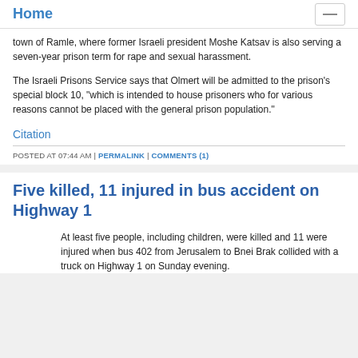Home
town of Ramle, where former Israeli president Moshe Katsav is also serving a seven-year prison term for rape and sexual harassment.
The Israeli Prisons Service says that Olmert will be admitted to the prison's special block 10, "which is intended to house prisoners who for various reasons cannot be placed with the general prison population."
Citation
POSTED AT 07:44 AM | PERMALINK | COMMENTS (1)
Five killed, 11 injured in bus accident on Highway 1
At least five people, including children, were killed and 11 were injured when bus 402 from Jerusalem to Bnei Brak collided with a truck on Highway 1 on Sunday evening.